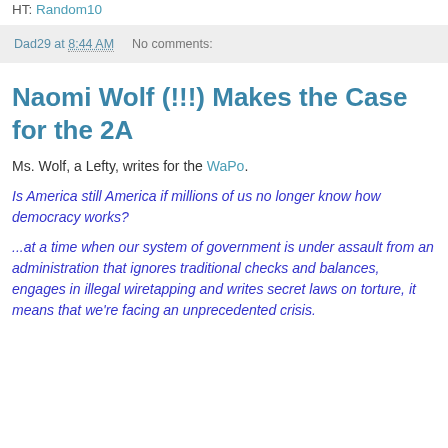HT: Random10
Dad29 at 8:44 AM   No comments:
Naomi Wolf (!!!) Makes the Case for the 2A
Ms. Wolf, a Lefty, writes for the WaPo.
Is America still America if millions of us no longer know how democracy works?
...at a time when our system of government is under assault from an administration that ignores traditional checks and balances, engages in illegal wiretapping and writes secret laws on torture, it means that we're facing an unprecedented crisis.